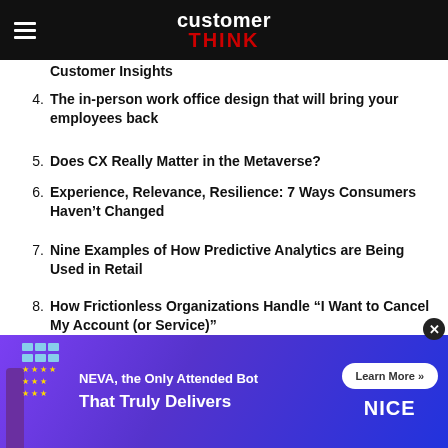customer THINK
Customer Insights (partial, item 3 continuation)
4. The in-person work office design that will bring your employees back
5. Does CX Really Matter in the Metaverse?
6. Experience, Relevance, Resilience: 7 Ways Consumers Haven’t Changed
7. Nine Examples of How Predictive Analytics are Being Used in Retail
8. How Frictionless Organizations Handle “I Want to Cancel My Account (or Service)”
9. Expert Tips and Best Practices for Implementing Conversational AI
10. The Inside and Outside of B2B Buyer-Driven Experiences
[Figure (infographic): Ad banner: NEVA, the Only Attended Bot That Truly Delivers. Learn More button. NICE logo. Purple background with animated bot figure.]